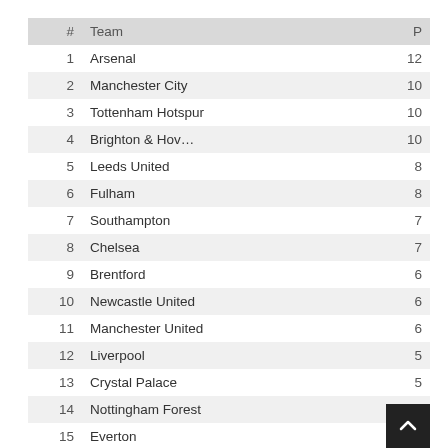| # | Team | P |
| --- | --- | --- |
| 1 | Arsenal | 12 |
| 2 | Manchester City | 10 |
| 3 | Tottenham Hotspur | 10 |
| 4 | Brighton & Hov… | 10 |
| 5 | Leeds United | 8 |
| 6 | Fulham | 8 |
| 7 | Southampton | 7 |
| 8 | Chelsea | 7 |
| 9 | Brentford | 6 |
| 10 | Newcastle United | 6 |
| 11 | Manchester United | 6 |
| 12 | Liverpool | 5 |
| 13 | Crystal Palace | 5 |
| 14 | Nottingham Forest | 4 |
| 15 | Everton |  |
| 16 | Aston Villa |  |